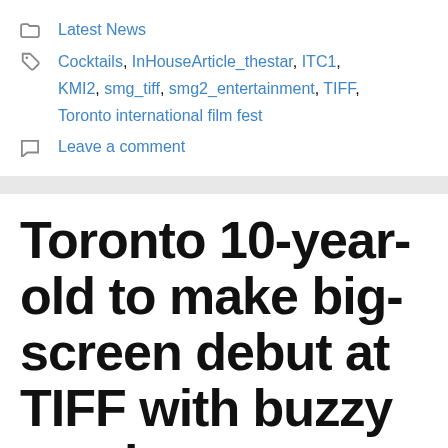Latest News
Cocktails, InHouseArticle_thestar, ITC1, KMI2, smg_tiff, smg2_entertainment, TIFF, Toronto international film fest
Leave a comment
Toronto 10-year-old to make big-screen debut at TIFF with buzzy movie
September 2, 2022 by x99news